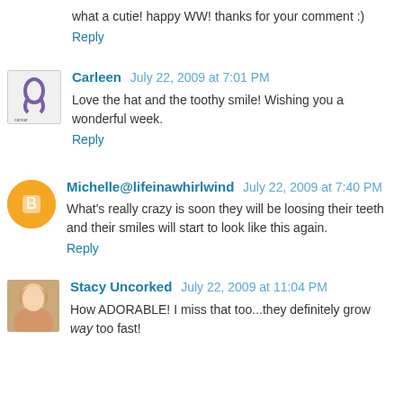what a cutie! happy WW! thanks for your comment :)
Reply
Carleen  July 22, 2009 at 7:01 PM
Love the hat and the toothy smile! Wishing you a wonderful week.
Reply
Michelle@lifeinawhirlwind  July 22, 2009 at 7:40 PM
What's really crazy is soon they will be loosing their teeth and their smiles will start to look like this again.
Reply
Stacy Uncorked  July 22, 2009 at 11:04 PM
How ADORABLE! I miss that too...they definitely grow way too fast!